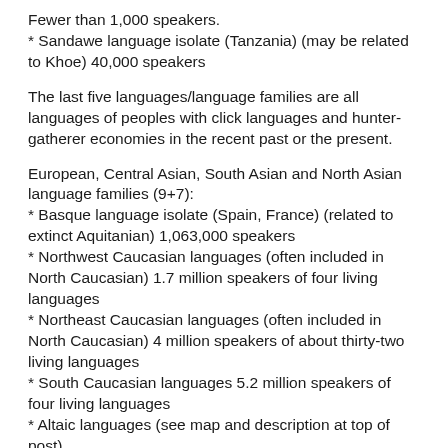Fewer than 1,000 speakers.
* Sandawe language isolate (Tanzania) (may be related to Khoe) 40,000 speakers
The last five languages/language families are all languages of peoples with click languages and hunter-gatherer economies in the recent past or the present.
European, Central Asian, South Asian and North Asian language families (9+7):
* Basque language isolate (Spain, France) (related to extinct Aquitanian) 1,063,000 speakers
* Northwest Caucasian languages (often included in North Caucasian) 1.7 million speakers of four living languages
* Northeast Caucasian languages (often included in North Caucasian) 4 million speakers of about thirty-two living languages
* South Caucasian languages 5.2 million speakers of four living languages
* Altaic languages (see map and description at top of post)
* Uralic languages (Finland, Hungary and Northern Russia) 25 million speakers of 39 languages